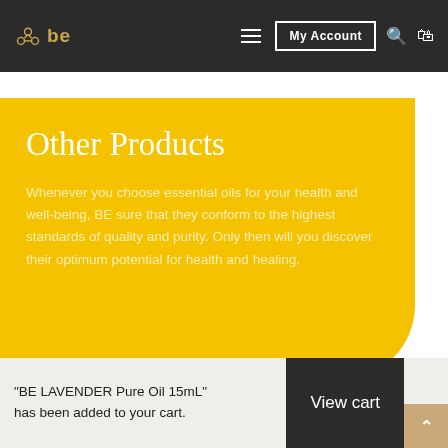be | My Account
Other Products
Whenever you choose essential oils for your health and well-being, BE sure that they conform to the highest standards of quality and purity. Only then will you discover their optimum potential for health and healing.
"BE LAVENDER Pure Oil 15mL" has been added to your cart.
View cart